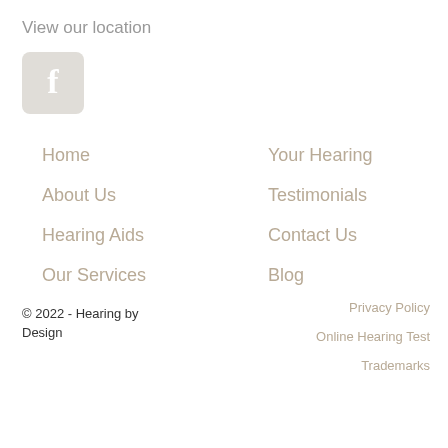View our location
[Figure (logo): Facebook icon — rounded square with white letter f on light beige/gray background]
Home
About Us
Hearing Aids
Our Services
Your Hearing
Testimonials
Contact Us
Blog
© 2022 - Hearing by Design
Privacy Policy
Online Hearing Test
Trademarks